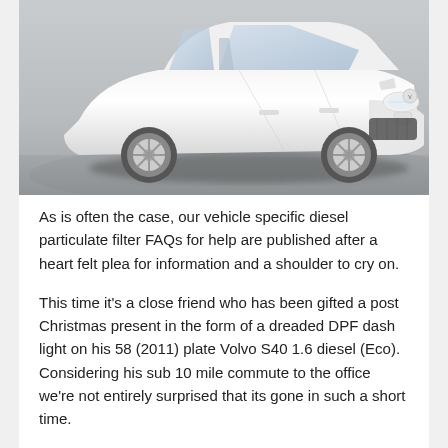[Figure (photo): White Volvo S40 sedan photographed from a low front-three-quarter angle while in motion on a road, with a blurred grey background.]
As is often the case, our vehicle specific diesel particulate filter FAQs for help are published after a heart felt plea for information and a shoulder to cry on.
This time it's a close friend who has been gifted a post Christmas present in the form of a dreaded DPF dash light on his 58 (2011) plate Volvo S40 1.6 diesel (Eco). Considering his sub 10 mile commute to the office we're not entirely surprised that its gone in such a short time.
I was rather shocked to see how Volvo deal with DPF cleans in their smaller 2.0 and 1.6 litre diesel engines and rather saddened by what I have discovered. They